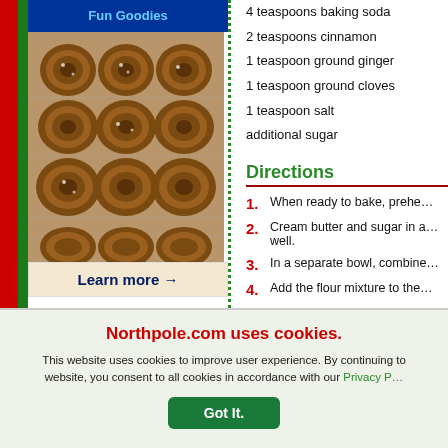[Figure (photo): Banner header with 'Fun Goodies' text on blue background, and photo of cinnamon rolls on a wire cooling rack with 'Learn more →' link below]
4 teaspoons baking soda
2 teaspoons cinnamon
1 teaspoon ground ginger
1 teaspoon ground cloves
1 teaspoon salt
additional sugar
Directions
1. When ready to bake, prehe…
2. Cream butter and sugar in a… well.
3. In a separate bowl, combine…
4. Add the flour mixture to the…
Northpole.com uses cookies.
This website uses cookies to improve user experience. By continuing to website, you consent to all cookies in accordance with our Privacy P…
Got It.